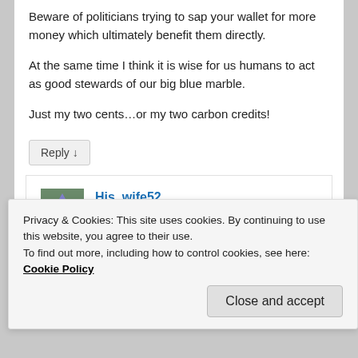Beware of politicians trying to sap your wallet for more money which ultimately benefit them directly.
At the same time I think it is wise for us humans to act as good stewards of our big blue marble.
Just my two cents…or my two carbon credits!
Reply ↓
His_wife52 on October 22, 2009 at 1:10 pm said:
Privacy & Cookies: This site uses cookies. By continuing to use this website, you agree to their use. To find out more, including how to control cookies, see here: Cookie Policy
Close and accept